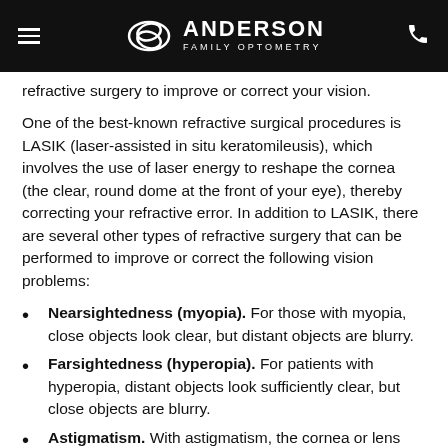Anderson Family Optometry
refractive surgery to improve or correct your vision.
One of the best-known refractive surgical procedures is LASIK (laser-assisted in situ keratomileusis), which involves the use of laser energy to reshape the cornea (the clear, round dome at the front of your eye), thereby correcting your refractive error. In addition to LASIK, there are several other types of refractive surgery that can be performed to improve or correct the following vision problems:
Nearsightedness (myopia). For those with myopia, close objects look clear, but distant objects are blurry.
Farsightedness (hyperopia). For patients with hyperopia, distant objects look sufficiently clear, but close objects are blurry.
Astigmatism. With astigmatism, the cornea or lens